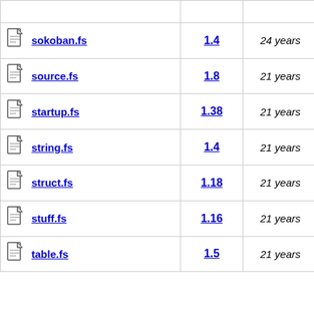| File | Version | Age | Description |
| --- | --- | --- | --- |
|  |  |  | files other... |
| sokoban.fs | 1.4 | 24 years | Mega-Patch; lots of changes |
| source.fs | 1.8 | 21 years | changed FSF address in copyright messages |
| startup.fs | 1.38 | 21 years | changed FSF address in copyright messages |
| string.fs | 1.4 | 21 years | changed FSF address in copyright messages |
| struct.fs | 1.18 | 21 years | changed FSF address in copyright messages |
| stuff.fs | 1.16 | 21 years | changed FSF address in copyright messages |
| table.fs | 1.5 | 21 years | changed FSF address in copyright |